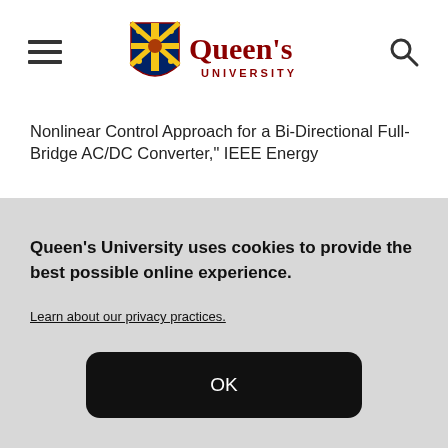[Figure (logo): Queen's University logo with shield crest and red wordmark]
Nonlinear Control Approach for a Bi-Directional Full-Bridge AC/DC Converter," IEEE Energy
Queen's University uses cookies to provide the best possible online experience.
Learn about our privacy practices.
OK